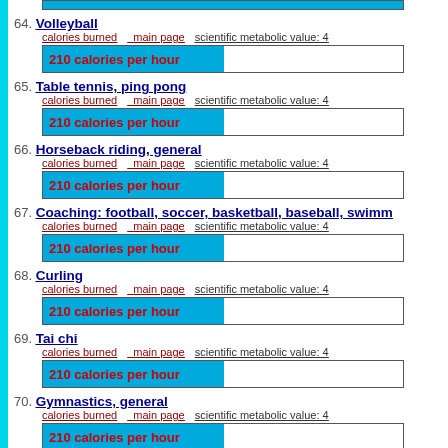64. Volleyball – calories burned, main page, scientific metabolic value: 4 – 210 calories per hour
65. Table tennis, ping pong – calories burned, main page, scientific metabolic value: 4 – 210 calories per hour
66. Horseback riding, general – calories burned, main page, scientific metabolic value: 4 – 210 calories per hour
67. Coaching: football, soccer, basketball, baseball, swimm – calories burned, main page, scientific metabolic value: 4 – 210 calories per hour
68. Curling – calories burned, main page, scientific metabolic value: 4 – 210 calories per hour
69. Tai chi – calories burned, main page, scientific metabolic value: 4 – 210 calories per hour
70. Gymnastics, general – calories burned, main page, scientific metabolic value: 4 – 210 calories per hour